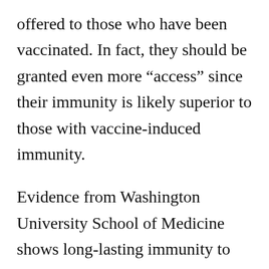offered to those who have been vaccinated. In fact, they should be granted even more “access” since their immunity is likely superior to those with vaccine-induced immunity.
Evidence from Washington University School of Medicine shows long-lasting immunity to COVID-19 exists in those who’ve recovered from the natural infection.¹³ At both seven months and 11 months after infection, most of the